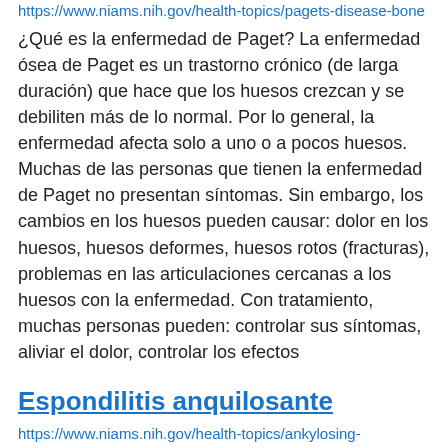https://www.niams.nih.gov/health-topics/pagets-disease-bone
¿Qué es la enfermedad de Paget? La enfermedad ósea de Paget es un trastorno crónico (de larga duración) que hace que los huesos crezcan y se debiliten más de lo normal. Por lo general, la enfermedad afecta solo a uno o a pocos huesos. Muchas de las personas que tienen la enfermedad de Paget no presentan síntomas. Sin embargo, los cambios en los huesos pueden causar: dolor en los huesos, huesos deformes, huesos rotos (fracturas), problemas en las articulaciones cercanas a los huesos con la enfermedad. Con tratamiento, muchas personas pueden: controlar sus síntomas, aliviar el dolor, controlar los efectos
Espondilitis anquilosante
https://www.niams.nih.gov/health-topics/ankylosing-spondylitis
¿Qué es la espondilitis anquilosante? La espondilitis anquilosante es un tipo de artritis que causa inflamación en ciertas partes de la columna vertebral. Con el tiempo, esta inflamación en las articulaciones y los tejidos de la columna puede causar rigidez. En casos graves, esto puede hacer que los huesos de la columna crezcan juntos, lo que puede ocasionar una columna rígida que es difícil de doblar. Muchas personas con espondilitis anquilosante tienen episodios leves de rigidez y dolores de espalda esporádicos. Pero en otros casos, hay rigidez y dolores de espalda